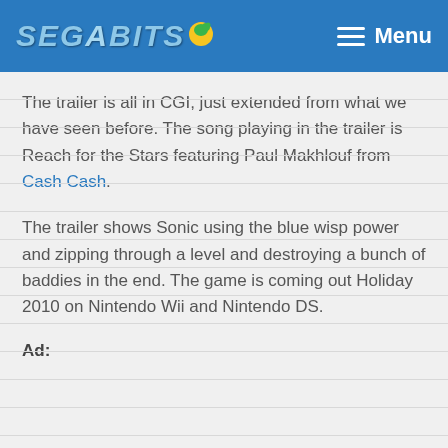SEGABITS — Menu
The trailer is all in CGI, just extended from what we have seen before. The song playing in the trailer is Reach for the Stars featuring Paul Makhlouf from Cash Cash.
The trailer shows Sonic using the blue wisp power and zipping through a level and destroying a bunch of baddies in the end. The game is coming out Holiday 2010 on Nintendo Wii and Nintendo DS.
Ad: